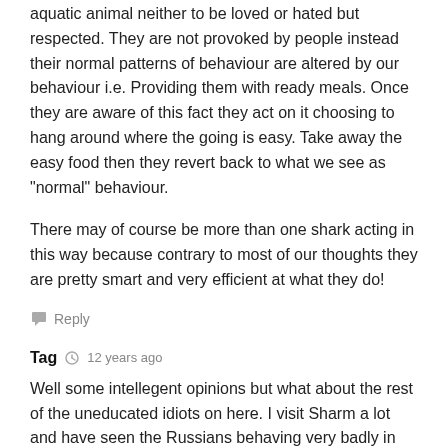aquatic animal neither to be loved or hated but respected. They are not provoked by people instead their normal patterns of behaviour are altered by our behaviour i.e. Providing them with ready meals. Once they are aware of this fact they act on it choosing to hang around where the going is easy. Take away the easy food then they revert back to what we see as "normal" behaviour.
There may of course be more than one shark acting in this way because contrary to most of our thoughts they are pretty smart and very efficient at what they do!
Reply
Tag  12 years ago
Well some intellegent opinions but what about the rest of the uneducated idiots on here. I visit Sharm a lot and have seen the Russians behaving very badly in the sea, walking on the coral and feeding the fish regularly with meat products, boiled eggs and anything from breakfast. They are an ingnorant